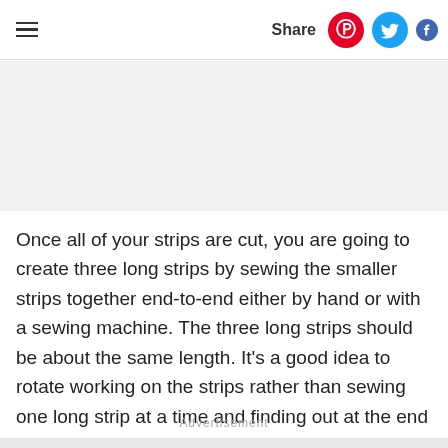≡  Share
[Figure (other): Gray advertisement banner placeholder]
Once all of your strips are cut, you are going to create three long strips by sewing the smaller strips together end-to-end either by hand or with a sewing machine. The three long strips should be about the same length. It's a good idea to rotate working on the strips rather than sewing one long strip at a time and finding out at the end that one strip is much longer than the others.
Advertisement